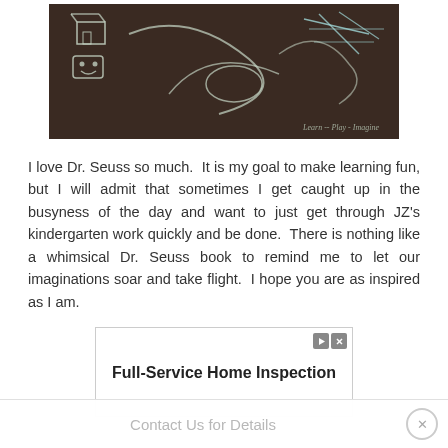[Figure (photo): A dark chalkboard with white chalk drawings including a simple building/house sketch, curved lines, an oval shape, and freeform scribbles. Watermark text reads 'Learn -- Play - Imagine' in the lower right corner.]
I love Dr. Seuss so much.  It is my goal to make learning fun, but I will admit that sometimes I get caught up in the busyness of the day and want to just get through JZ's kindergarten work quickly and be done.  There is nothing like a whimsical Dr. Seuss book to remind me to let our imaginations soar and take flight.  I hope you are as inspired as I am.
[Figure (screenshot): Advertisement box with play and close icons in top right corner. Bold text reads 'Full-Service Home Inspection'.]
Contact Us for Details